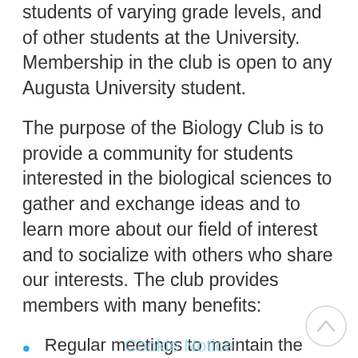students of varying grade levels, and of other students at the University. Membership in the club is open to any Augusta University student.
The purpose of the Biology Club is to provide a community for students interested in the biological sciences to gather and exchange ideas and to learn more about our field of interest and to socialize with others who share our interests. The club provides members with many benefits:
Regular meetings to maintain the club community and allow for the introduction of new members.
Guest speakers from local and national graduate schools and industry to provide useful insight to club members.
Cookie Notice